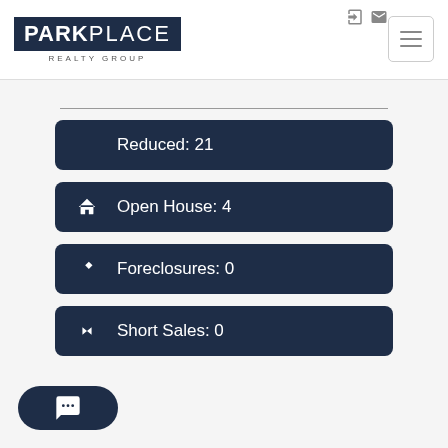[Figure (logo): Park Place Realty Group logo — dark navy background with PARK in bold white and PLACE in regular white, REALTY GROUP subtitle below]
Reduced: 21
Open House: 4
Foreclosures: 0
Short Sales: 0